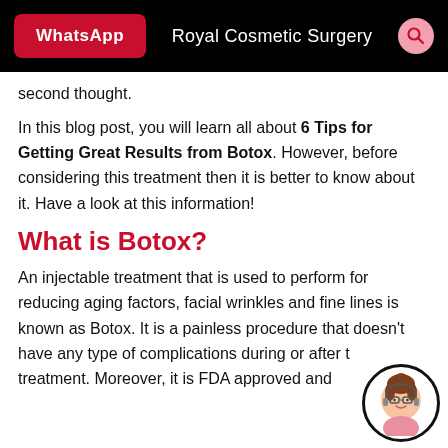WhatsApp | Royal Cosmetic Surgery
second thought.
In this blog post, you will learn all about 6 Tips for Getting Great Results from Botox. However, before considering this treatment then it is better to know about it. Have a look at this information!
What is Botox?
An injectable treatment that is used to perform for reducing aging factors, facial wrinkles and fine lines is known as Botox. It is a painless procedure that doesn't have any type of complications during or after the treatment. Moreover, it is FDA approved and
[Figure (illustration): Chat support avatar: cartoon woman with glasses and pink top inside a circle]